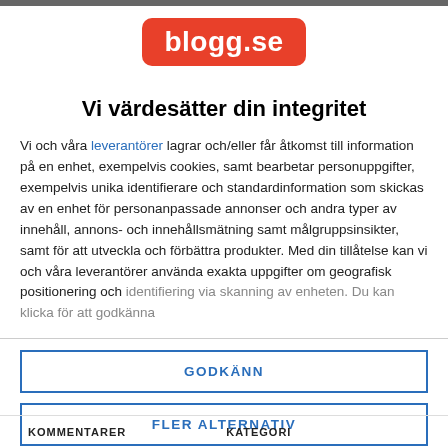[Figure (logo): blogg.se logo — white text on red rounded rectangle]
Vi värdesätter din integritet
Vi och våra leverantörer lagrar och/eller får åtkomst till information på en enhet, exempelvis cookies, samt bearbetar personuppgifter, exempelvis unika identifierare och standardinformation som skickas av en enhet för personanpassade annonser och andra typer av innehåll, annons- och innehållsmätning samt målgruppsinsikter, samt för att utveckla och förbättra produkter. Med din tillåtelse kan vi och våra leverantörer använda exakta uppgifter om geografisk positionering och identifiering via skanning av enheten. Du kan klicka för att godkänna
GODKÄNN
FLER ALTERNATIV
KOMMENTARER   KATEGORI